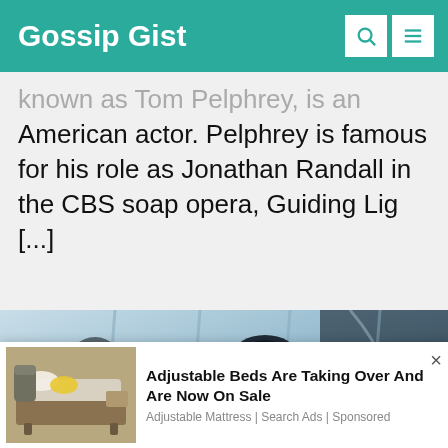Gossip Gist
known as Tom Pelphrey, is an American actor. Pelphrey is famous for his role as Jonathan Randall in the CBS soap opera, Guiding Lig [...]
[Figure (photo): A man's profile silhouette lit from the side against a large window grid background, with a shadow figure visible on the left.]
Adjustable Beds Are Taking Over And Are Now On Sale
Adjustable Mattress | Search Ads | Sponsored